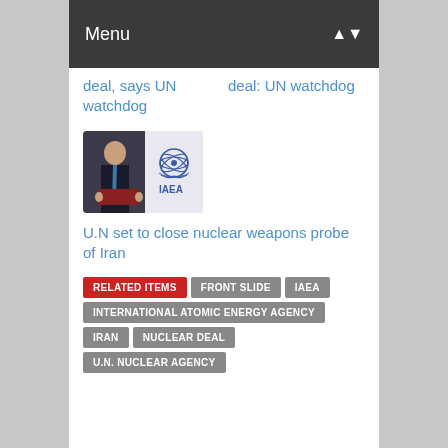Menu
deal, says UN watchdog
deal: UN watchdog
[Figure (photo): Man in suit standing in front of IAEA logo backdrop, holding a folder]
U.N set to close nuclear weapons probe of Iran
RELATED ITEMS
FRONT SLIDE
IAEA
INTERNATIONAL ATOMIC ENERGY AGENCY
IRAN
NUCLEAR DEAL
U.N. NUCLEAR AGENCY